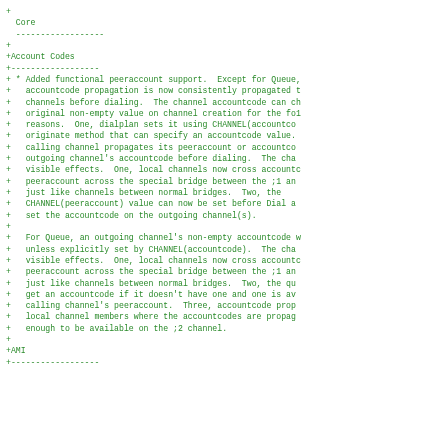+
  Core
  ------------------
+
+Account Codes
+------------------
+ * Added functional peeraccount support.  Except for Queue,
+   accountcode propagation is now consistently propagated t
+   channels before dialing.  The channel accountcode can ch
+   original non-empty value on channel creation for the fo1
+   reasons.  One, dialplan sets it using CHANNEL(accountco
+   originate method that can specify an accountcode value.
+   calling channel propagates its peeraccount or accountco
+   outgoing channel's accountcode before dialing.  The cha
+   visible effects.  One, local channels now cross accountc
+   peeraccount across the special bridge between the ;1 an
+   just like channels between normal bridges.  Two, the
+   CHANNEL(peeraccount) value can now be set before Dial a
+   set the accountcode on the outgoing channel(s).
+
+   For Queue, an outgoing channel's non-empty accountcode w
+   unless explicitly set by CHANNEL(accountcode).  The cha
+   visible effects.  One, local channels now cross accountc
+   peeraccount across the special bridge between the ;1 an
+   just like channels between normal bridges.  Two, the qu
+   get an accountcode if it doesn't have one and one is av
+   calling channel's peeraccount.  Three, accountcode prop
+   local channel members where the accountcodes are propag
+   enough to be available on the ;2 channel.
+
+AMI
+------------------